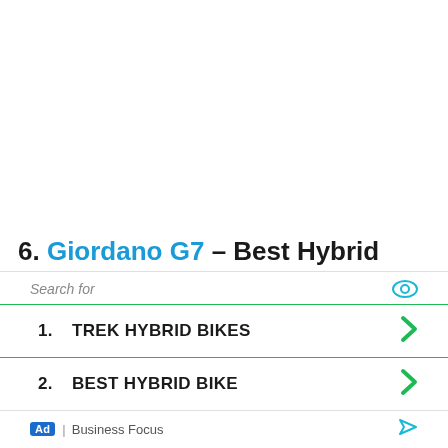6. Giordano G7 – Best Hybrid Bike for Beginners
1. TREK HYBRID BIKES
2. BEST HYBRID BIKE
Ad | Business Focus